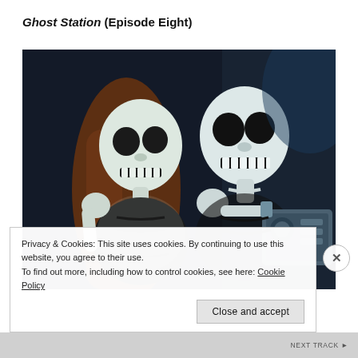Ghost Station (Episode Eight)
[Figure (illustration): Anime-style illustration of two skeleton characters side by side. Left skeleton has long brown hair and a feminine appearance; right skeleton holds what appears to be a mechanical device or boombox. Dark background.]
Privacy & Cookies: This site uses cookies. By continuing to use this website, you agree to their use.
To find out more, including how to control cookies, see here: Cookie Policy
Close and accept